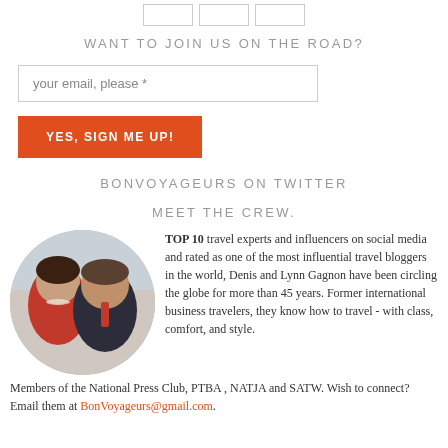[Figure (other): Three small square button/icon placeholders at top center]
WANT TO JOIN US ON THE ROAD?
your email, please *
YES, SIGN ME UP!
BONVOYAGEURS ON TWITTER
MEET THE CREW.
[Figure (photo): Circular photo of Denis and Lynn Gagnon, a couple, woman in red on left, man in dark suit on right]
TOP 10 travel experts and influencers on social media and rated as one of the most influential travel bloggers in the world, Denis and Lynn Gagnon have been circling the globe for more than 45 years. Former international business travelers, they know how to travel - with class, comfort, and style. Members of the National Press Club, PTBA , NATJA and SATW. Wish to connect? Email them at BonVoyageurs@gmail.com.